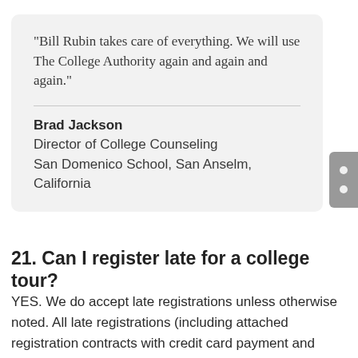“Bill Rubin takes care of everything. We will use The College Authority again and again and again.”
Brad Jackson
Director of College Counseling
San Domenico School, San Anselm, California
21. Can I register late for a college tour?
YES. We do accept late registrations unless otherwise noted. All late registrations (including attached registration contracts with credit card payment and parent permission forms) must be emailed or mailed to...